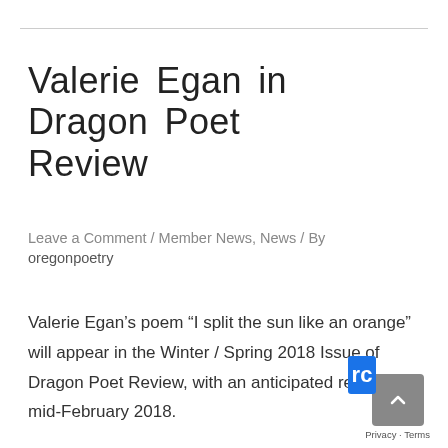Valerie Egan in Dragon Poet Review
Leave a Comment / Member News, News / By oregonpoetry
Valerie Egan’s poem “I split the sun like an orange” will appear in the Winter / Spring 2018 Issue of Dragon Poet Review, with an anticipated release of mid‑February 2018.